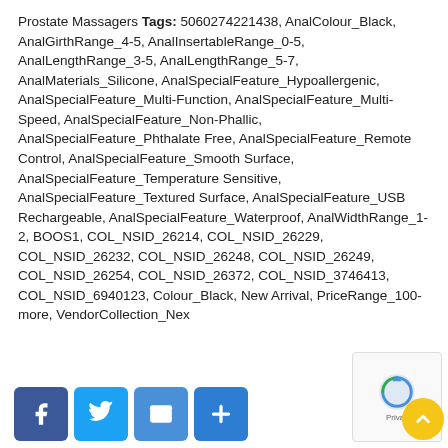Prostate Massagers Tags: 5060274221438, AnalColour_Black, AnalGirthRange_4-5, AnalInsertableRange_0-5, AnalLengthRange_3-5, AnalLengthRange_5-7, AnalMaterials_Silicone, AnalSpecialFeature_Hypoallergenic, AnalSpecialFeature_Multi-Function, AnalSpecialFeature_Multi-Speed, AnalSpecialFeature_Non-Phallic, AnalSpecialFeature_Phthalate Free, AnalSpecialFeature_Remote Control, AnalSpecialFeature_Smooth Surface, AnalSpecialFeature_Temperature Sensitive, AnalSpecialFeature_Textured Surface, AnalSpecialFeature_USB Rechargeable, AnalSpecialFeature_Waterproof, AnalWidthRange_1-2, BOOS1, COL_NSID_26214, COL_NSID_26229, COL_NSID_26232, COL_NSID_26248, COL_NSID_26249, COL_NSID_26254, COL_NSID_26372, COL_NSID_3746413, COL_NSID_6940123, Colour_Black, New Arrival, PriceRange_100-more, VendorCollection_Nex...